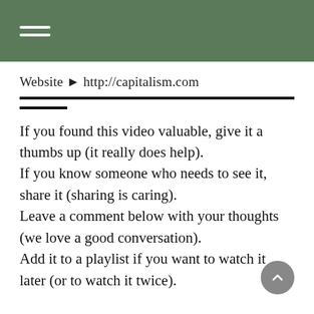Website ► http://capitalism.com
If you found this video valuable, give it a thumbs up (it really does help).
If you know someone who needs to see it, share it (sharing is caring).
Leave a comment below with your thoughts (we love a good conversation).
Add it to a playlist if you want to watch it later (or to watch it twice).